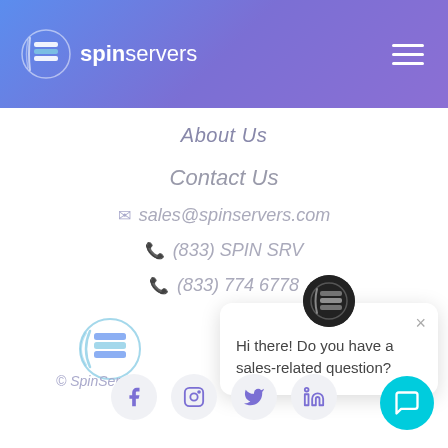spinservers
About Us
Contact Us
sales@spinservers.com
(833) SPIN SRV
(833) 774 6778
[Figure (logo): SpinServers logo with server icon]
© SpinServe
[Figure (other): Chat popup with SpinServers avatar and message: Hi there! Do you have a sales-related question?]
[Figure (other): Social media icons row: Facebook, Instagram, Twitter, LinkedIn]
[Figure (other): Cyan chat button bottom right]